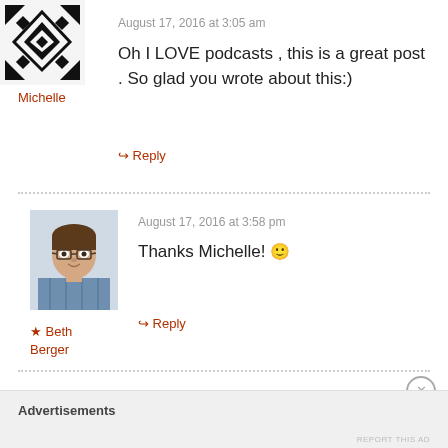[Figure (illustration): Geometric black and white avatar icon with diamond/star pattern for user Michelle]
August 17, 2016 at 3:05 am
Michelle
Oh I LOVE podcasts , this is a great post . So glad you wrote about this:)
↳ Reply
[Figure (photo): Profile photo of Beth Berger, a woman with glasses smiling]
August 17, 2016 at 3:58 pm
★ Beth Berger
Thanks Michelle! 🙂
↳ Reply
Advertisements
REPORT THIS AD